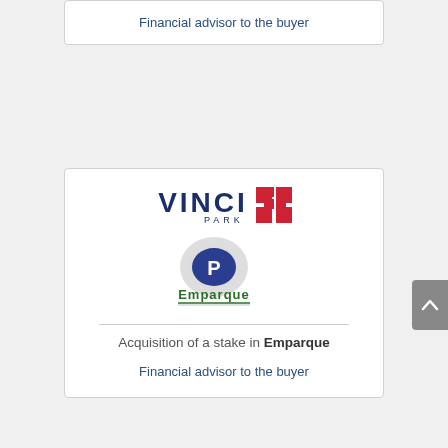Financial advisor to the buyer
[Figure (logo): VINCI Park and Emparque logos stacked vertically inside a white card. VINCI PARK logo shows bold dark blue text with red cross symbol. Emparque logo shows a circular parking icon with green text.]
Acquisition of a stake in Emparque
Financial advisor to the buyer